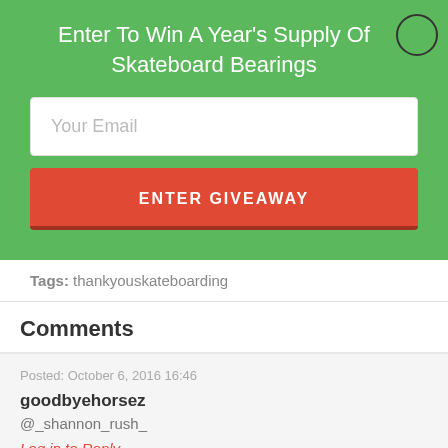Enter To Win A Year's Supply Of Skateboard Bearings
[Figure (other): Email input field with placeholder text 'Your Email']
[Figure (other): Red button labeled 'ENTER GIVEAWAY']
Tags:  thankyouskateboarding
Comments
Posted: October 6, 2016 16:46
goodbyehorsez
@_shannon_rush_
Log in to Reply